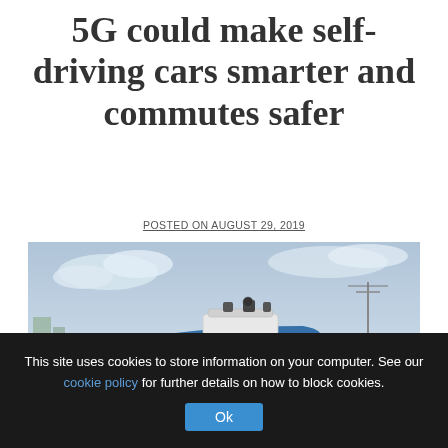5G could make self-driving cars smarter and commutes safer
POSTED ON AUGUST 29, 2019
[Figure (photo): A blue Ford autonomous self-driving car with sensors and cameras mounted on its roof, driving on a highway. The car has white autonomous vehicle sensor housing on top and 'Ford' branding on the side.]
This site uses cookies to store information on your computer. See our cookie policy for further details on how to block cookies.
Ok